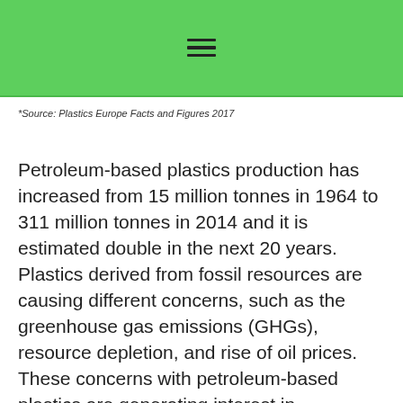☰
*Source: Plastics Europe Facts and Figures 2017
Petroleum-based plastics production has increased from 15 million tonnes in 1964 to 311 million tonnes in 2014 and it is estimated double in the next 20 years. Plastics derived from fossil resources are causing different concerns, such as the greenhouse gas emissions (GHGs), resource depletion, and rise of oil prices. These concerns with petroleum-based plastics are generating interest in bioplastics. Many studies have focused on GHGs of bioplastics but studies focusing on water and land footprints of bioplastics are rare. This study aims to calculate the water and land footprint of bioplastics in several scenarios where all plastics are bio-based and assume different types of biomaterials and recycling rates. Calculation of such scenarios are carried out